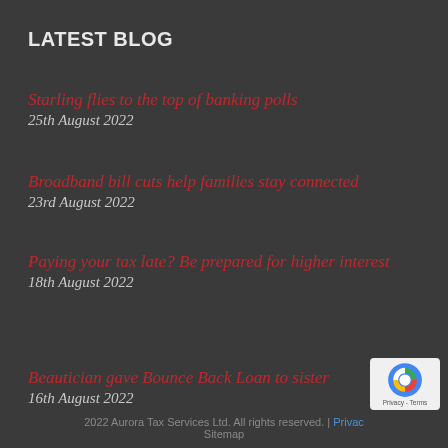LATEST BLOG
Starling flies to the top of banking polls
25th August 2022
Broadband bill cuts help families stay connected
23rd August 2022
Paying your tax late? Be prepared for higher interest
18th August 2022
Beautician gave Bounce Back Loan to sister
16th August 2022
2022 Aurora Tax Services Ltd. All rights reserved. | Privacy   Sitemap